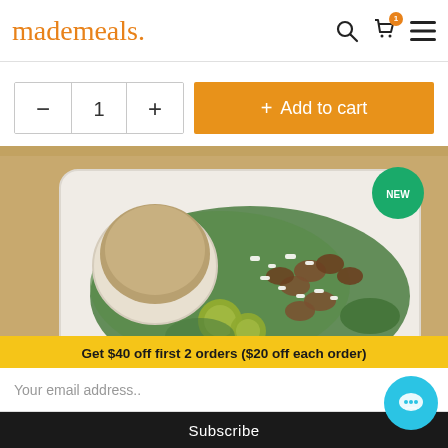mademeals.
− 1 + Add to cart
[Figure (photo): A salad meal in a takeout container with walnuts, arugula, feta cheese, roasted brussels sprouts, and a side of dressing. A 'NEW' badge is in the top right corner.]
Get $40 off first 2 orders ($20 off each order)
Your email address..
Subscribe